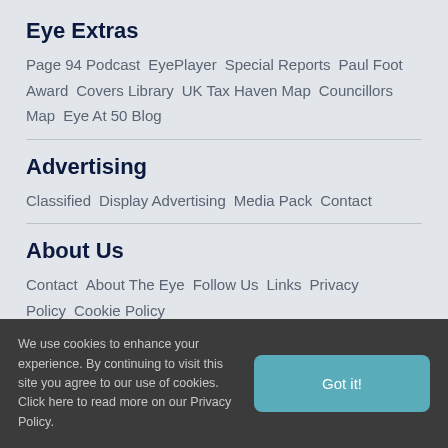Eye Extras
Page 94 Podcast  EyePlayer  Special Reports  Paul Foot Award  Covers Library  UK Tax Haven Map  Councillors Map  Eye At 50 Blog
Advertising
Classified  Display Advertising  Media Pack  Contact
About Us
Contact  About The Eye  Follow Us  Links  Privacy Policy  Cookie Policy
We use cookies to enhance your experience. By continuing to visit this site you agree to our use of cookies. Click here to read more on our Privacy Policy.